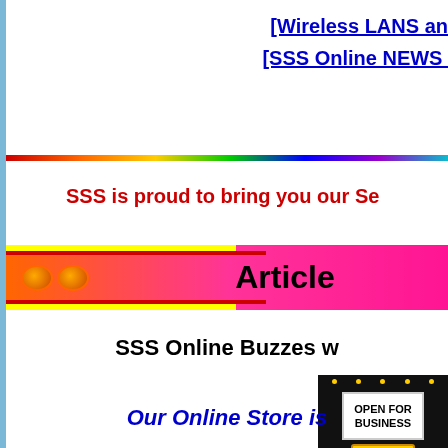[Wireless LANS an
[SSS Online NEWS
SSS is proud to bring you our Se
[Figure (illustration): Article banner with gradient background from orange to pink/red, yellow stripes on left, circular decorative elements, and bold black 'Article' text]
SSS Online Buzzes w
[Figure (photo): Open for Business sign image — a marquee sign reading OPEN FOR BUSINESS on a yellow stand, against dark background]
Our Online Store is